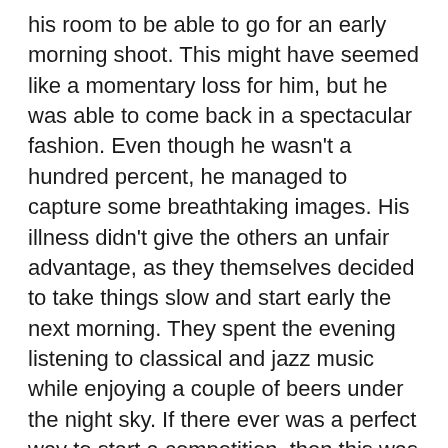his room to be able to go for an early morning shoot. This might have seemed like a momentary loss for him, but he was able to come back in a spectacular fashion. Even though he wasn't a hundred percent, he managed to capture some breathtaking images. His illness didn't give the others an unfair advantage, as they themselves decided to take things slow and start early the next morning. They spent the evening listening to classical and jazz music while enjoying a couple of beers under the night sky. If there ever was a perfect way to start a competition, then this was it.
After their morning shoot both the Amits decided to take a break and head out. I was fortunate enough to tag along and observe them for a while. When I enquired about his shoot, Amit Ashar told me that he was able to capture a beautiful image of the Mercedes-Benz CLA with a cow in the foreground. Granted it doesn't sound like the choicest of pictures, but Amit had